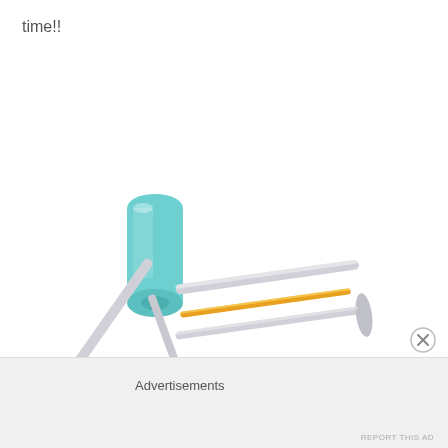time!!
[Figure (photo): A cheese slicer or vegetable peeler tool with a teal/turquoise soft-grip handle and a silver wire frame with a golden/orange cutting wire, photographed on a white background.]
Advertisements
REPORT THIS AD